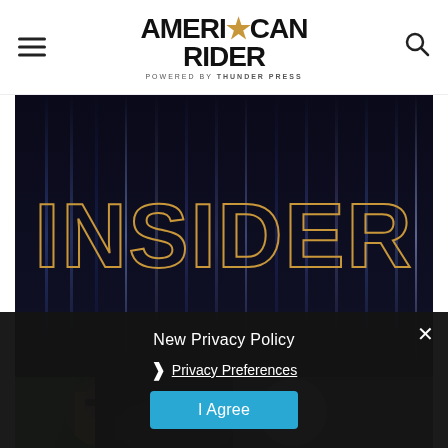AMERICAN RIDER powered by THUNDER PRESS
[Figure (illustration): Dark background banner with large outlined gold text reading INSIDER, with vertical light streaks in background]
[Figure (photo): Bottom strip showing two circular profile photos of people on a dark motorcycle background]
New Privacy Policy
❯ Privacy Preferences
I Agree